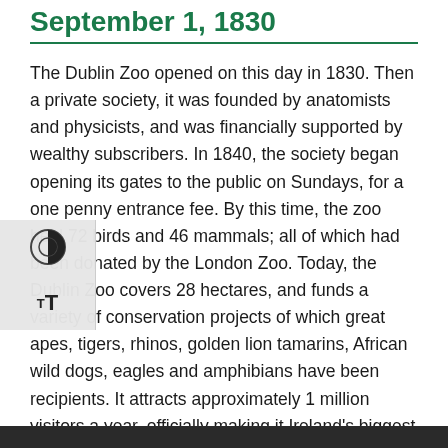September 1, 1830
The Dublin Zoo opened on this day in 1830. Then a private society, it was founded by anatomists and physicists, and was financially supported by wealthy subscribers. In 1840, the society began opening its gates to the public on Sundays, for a one penny entrance fee. By this time, the zoo held 72 birds and 46 mammals; all of which had been donated by the London Zoo. Today, the Dublin Zoo covers 28 hectares, and funds a variety of conservation projects of which great apes, tigers, rhinos, golden lion tamarins, African wild dogs, eagles and amphibians have been recipients. It attracts approximately 1 million visitors a year, officially making it Ireland's biggest family attraction.